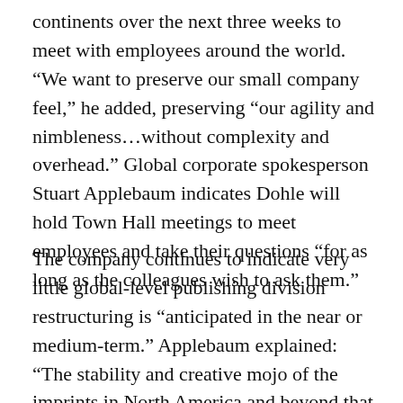continents over the next three weeks to meet with employees around the world. “We want to preserve our small company feel,” he added, preserving “our agility and nimbleness…without complexity and overhead.” Global corporate spokesperson Stuart Applebaum indicates Dohle will hold Town Hall meetings to meet employees and take their questions “for as long as the colleagues wish to ask them.”
The company continues to indicate very little global-level publishing division restructuring is “anticipated in the near or medium-term.” Applebaum explained: “The stability and creative mojo of the imprints in North America and beyond that exists in absence the...